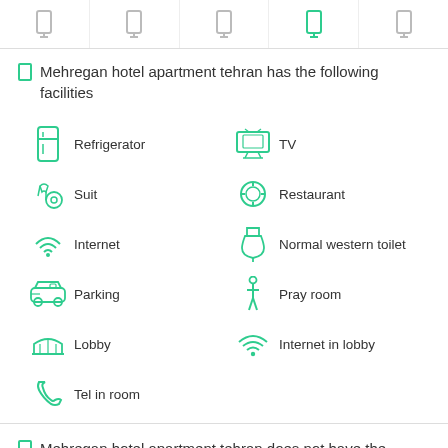[Figure (other): Navigation bar with 5 icon tabs, the 4th highlighted in teal/green]
Mehregan hotel apartment tehran has the following facilities
Refrigerator
TV
Suit
Restaurant
Internet
Normal western toilet
Parking
Pray room
Lobby
Internet in lobby
Tel in room
Mehregan hotel apartment tehran does not have the following facilities